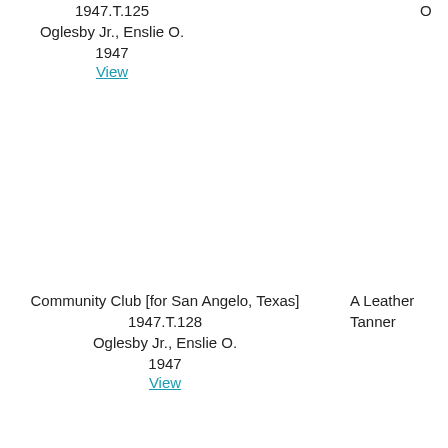1947.T.125
Oglesby Jr., Enslie O.
1947
View
O
Community Club [for San Angelo, Texas]
1947.T.128
Oglesby Jr., Enslie O.
1947
View
A Leather Tanner